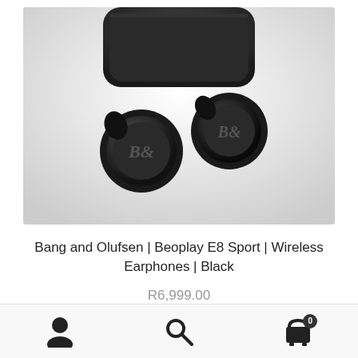[Figure (photo): Bang & Olufsen Beoplay E8 Sport wireless earphones in black, shown with charging case, both earbuds visible with B&O logo on face]
Bang and Olufsen | Beoplay E8 Sport | Wireless Earphones | Black
R6,999.00
Select options